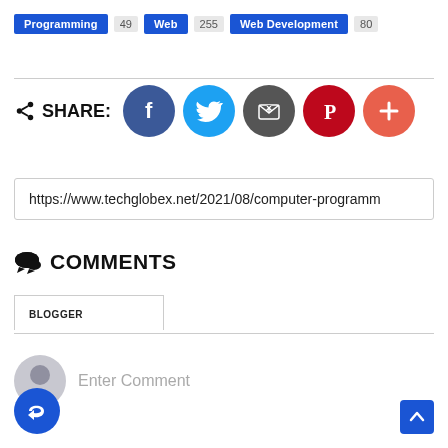Programming 49  Web 255  Web Development 80
[Figure (infographic): Share buttons row with share icon and label, followed by social media circles: Facebook (dark blue), Twitter (light blue), Email (dark gray), Pinterest (dark red), More/Plus (salmon/orange-red)]
https://www.techglobex.net/2021/08/computer-programm
COMMENTS
BLOGGER
Enter Comment
[Figure (infographic): Reply button (blue circle with right-pointing arrow) and back-to-top button (blue square with upward chevron)]